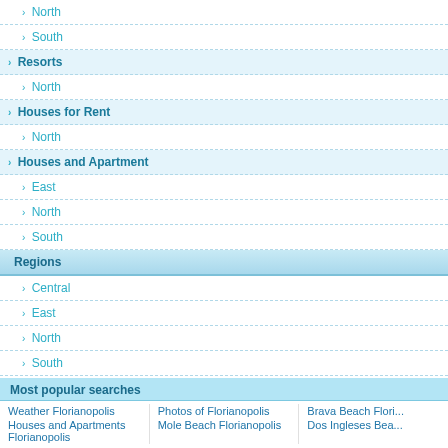North
South
Resorts
North
Houses for Rent
North
Houses and Apartment
East
North
South
Regions
Central
East
North
South
Advertise
Most popular searches
Weather Florianopolis | Photos of Florianopolis | Brava Beach Flori...
Houses and Apartments Florianopolis | Mole Beach Florianopolis | Dos Ingleses Bea...